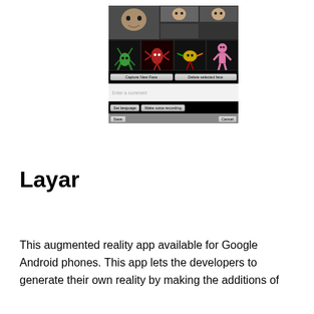[Figure (screenshot): Android app screenshot showing a face/creature recognition interface with thumbnail images, buttons for 'Capture New Face', 'Delete selected face', a comment text field, 'Set language', 'Make voice recording', 'Save', and 'Cancel' buttons.]
Layar
This augmented reality app available for Google Android phones. This app lets the developers to generate their own reality by making the additions of